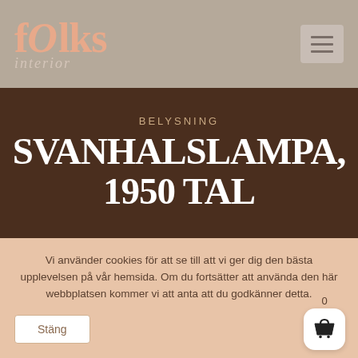[Figure (logo): fOlks interior logo in salmon/pink color on taupe background with hamburger menu icon]
BELYSNING
SVANHALSLAMPA, 1950 TAL
Vi använder cookies för att se till att vi ger dig den bästa upplevelsen på vår hemsida. Om du fortsätter att använda den här webbplatsen kommer vi att anta att du godkänner detta.
Stäng
0